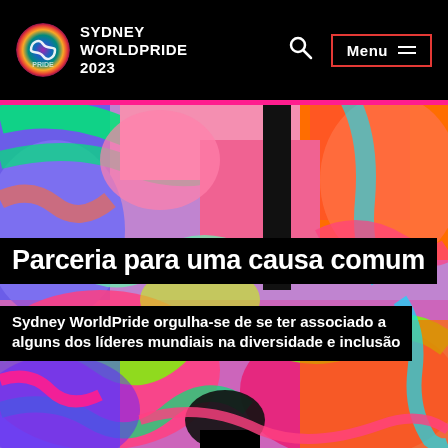SYDNEY WORLDPRIDE 2023
[Figure (illustration): Colorful abstract artwork with paint-stroke patterns in green, blue, pink, orange, magenta, and black used as a hero background image]
Parceria para uma causa comum
Sydney WorldPride orgulha-se de se ter associado a alguns dos líderes mundiais na diversidade e inclusão